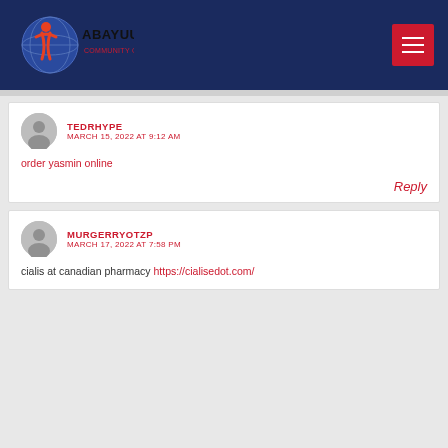[Figure (logo): Abayuuti Community Group logo with globe and figure, white text on dark blue header]
TEDRHYPE
MARCH 15, 2022 AT 9:12 AM
order yasmin online
Reply
MURGERRYOTZP
MARCH 17, 2022 AT 7:58 PM
cialis at canadian pharmacy https://cialisedot.com/